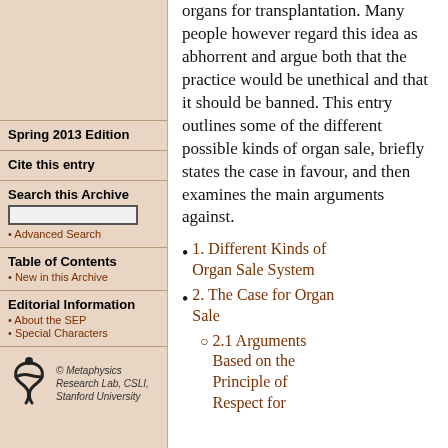organs for transplantation. Many people however regard this idea as abhorrent and argue both that the practice would be unethical and that it should be banned. This entry outlines some of the different possible kinds of organ sale, briefly states the case in favour, and then examines the main arguments against.
1. Different Kinds of Organ Sale System
2. The Case for Organ Sale
2.1 Arguments Based on the Principle of Respect for
Spring 2013 Edition
Cite this entry
Search this Archive
• Advanced Search
Table of Contents
• New in this Archive
Editorial Information
• About the SEP
• Special Characters
[Figure (logo): Metaphysics Research Lab, CSLI, Stanford University logo with stylized figure]